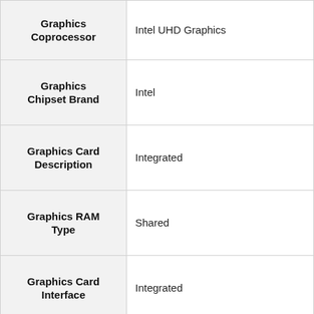| Attribute | Value |
| --- | --- |
| Graphics Coprocessor | Intel UHD Graphics |
| Graphics Chipset Brand | Intel |
| Graphics Card Description | Integrated |
| Graphics RAM Type | Shared |
| Graphics Card Interface | Integrated |
| Connectivity Type | Bluetooth, Wi-Fi |
| Wireless Type | Bluetooth |
|  |  |